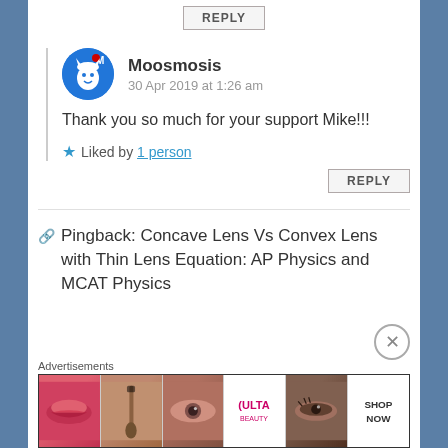REPLY
Moosmosis
30 Apr 2019 at 1:26 am
Thank you so much for your support Mike!!!
Liked by 1 person
REPLY
Pingback: Concave Lens Vs Convex Lens with Thin Lens Equation: AP Physics and MCAT Physics
[Figure (screenshot): Advertisement banner showing beauty/makeup products (lips, brush, eye, ULTA logo, eye makeup) with SHOP NOW button]
Advertisements